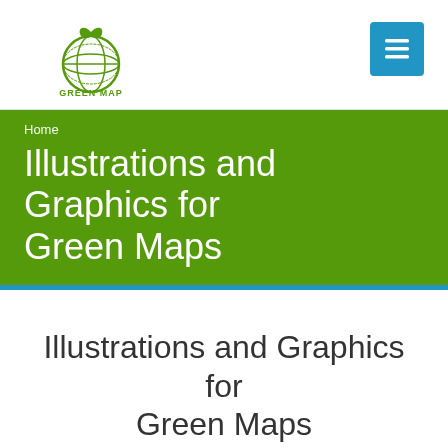[Figure (logo): Green Map logo: globe with leaf on top, text 'GREEN MAP' below, green color]
[Figure (other): Blue hamburger menu button with three horizontal white lines]
Home
Illustrations and Graphics for Green Maps
Illustrations and Graphics for Green Maps